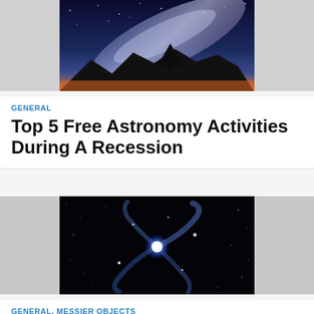[Figure (photo): Night sky photo showing the Milky Way galaxy arc over a dark mountain silhouette with a tree, gradient from dark blue at top to orange horizon at bottom]
GENERAL
Top 5 Free Astronomy Activities During A Recession
[Figure (photo): Astronomical image of Messier 99 spiral galaxy (Coma Pinwheel) on a black background with scattered stars, showing blue-white spiral arms]
GENERAL, MESSIER OBJECTS
Messier 99 Coma Pinwheel